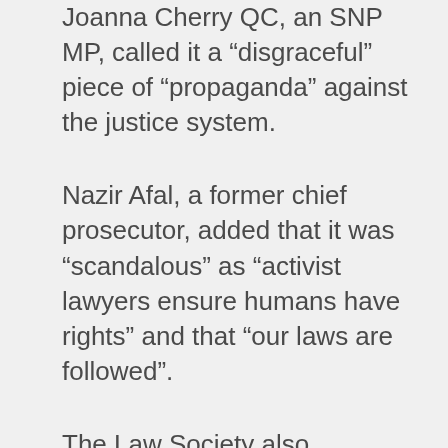Joanna Cherry QC, an SNP MP, called it a “disgraceful” piece of “propaganda” against the justice system.
Nazir Afal, a former chief prosecutor, added that it was “scandalous” as “activist lawyers ensure humans have rights” and that “our laws are followed”.
The Law Society also condemned the reference to immigration lawyers who provide legal advice to migrants as “activist lawyers” in a press release. “Attacks on the integrity of the legal profession undermine the rule of law,” said Law Society President Simon Davis.